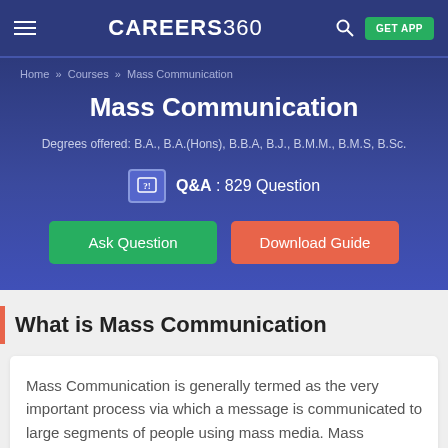CAREERS360
Home » Courses » Mass Communication
Mass Communication
Degrees offered: B.A., B.A.(Hons), B.B.A, B.J., B.M.M., B.M.S, B.Sc.
Q&A : 829 Question
Ask Question
Download Guide
What is Mass Communication
Mass Communication is generally termed as the very important process via which a message is communicated to large segments of people using mass media. Mass communication is usually used to distribute a similar message to a large number of the population that do not